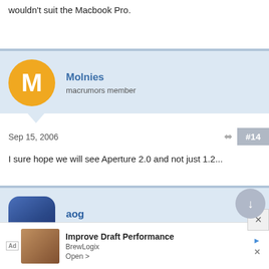wouldn't suit the Macbook Pro.
Molnies
macrumors member
Sep 15, 2006
#14
I sure hope we will see Aperture 2.0 and not just 1.2...
aog
macrumors newbie
Sep 15, 2006
I hope th...ce
[Figure (screenshot): Advertisement overlay for BrewLogix - Improve Draft Performance]